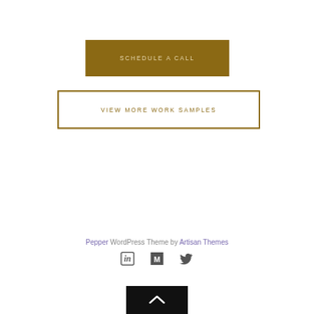SCHEDULE A CALL
VIEW MORE WORK SAMPLES
Pepper WordPress Theme by Artisan Themes
[Figure (other): Social media icons: LinkedIn, Medium, Twitter]
[Figure (other): Back to top button with upward chevron arrow]